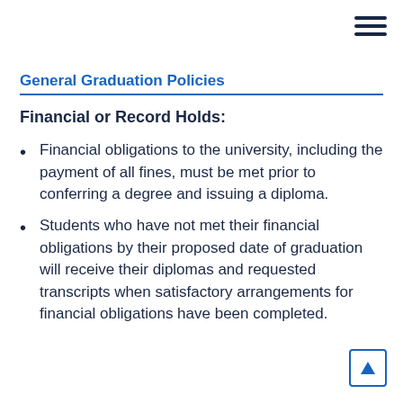☰ (hamburger menu icon)
General Graduation Policies
Financial or Record Holds:
Financial obligations to the university, including the payment of all fines, must be met prior to conferring a degree and issuing a diploma.
Students who have not met their financial obligations by their proposed date of graduation will receive their diplomas and requested transcripts when satisfactory arrangements for financial obligations have been completed.